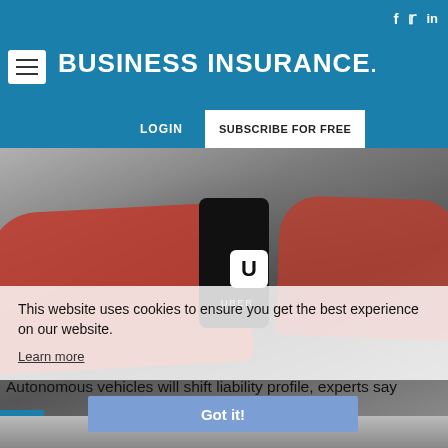BUSINESS INSURANCE.
LOGIN   SUBSCRIBE FOR FREE
[Figure (photo): Person holding a smartphone showing the Uber app logo, with red cars in a parking lot in the background.]
This website uses cookies to ensure you get the best experience on our website.
Learn more
Got it!
Autonomous vehicles will shift liability profile, experts say